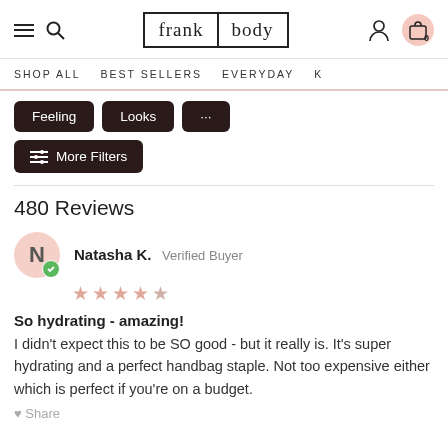frank body — navigation header with hamburger menu, search icon, logo, user icon, cart icon (0)
SHOP ALL   BEST SELLERS   EVERYDAY   K
Feeling
Looks
...
More Filters
480 Reviews
Natasha K.  Verified Buyer
So hydrating - amazing!
I didn't expect this to be SO good - but it really is. It's super hydrating and a perfect handbag staple. Not too expensive either which is perfect if you're on a budget.